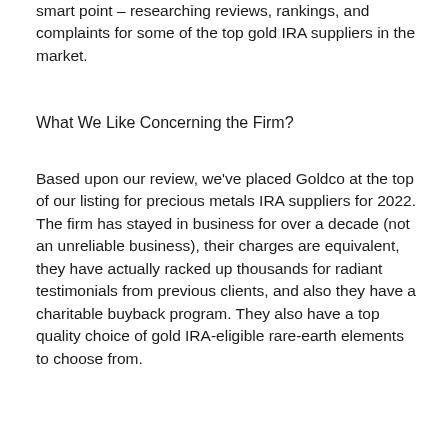smart point – researching reviews, rankings, and complaints for some of the top gold IRA suppliers in the market.
What We Like Concerning the Firm?
Based upon our review, we've placed Goldco at the top of our listing for precious metals IRA suppliers for 2022. The firm has stayed in business for over a decade (not an unreliable business), their charges are equivalent, they have actually racked up thousands for radiant testimonials from previous clients, and also they have a charitable buyback program. They also have a top quality choice of gold IRA-eligible rare-earth elements to choose from.